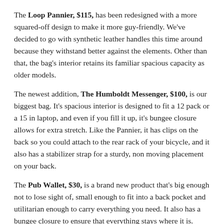The Loop Pannier, $115, has been redesigned with a more squared-off design to make it more guy-friendly. We've decided to go with synthetic leather handles this time around because they withstand better against the elements. Other than that, the bag's interior retains its familiar spacious capacity as older models.
The newest addition, The Humboldt Messenger, $100, is our biggest bag. It's spacious interior is designed to fit a 12 pack or a 15 in laptop, and even if you fill it up, it's bungee closure allows for extra stretch. Like the Pannier, it has clips on the back so you could attach to the rear rack of your bicycle, and it also has a stabilizer strap for a sturdy, non moving placement on your back.
The Pub Wallet, $30, is a brand new product that's big enough not to lose sight of, small enough to fit into a back pocket and utilitarian enough to carry everything you need. It also has a bungee closure to ensure that everything stays where it is.
Check 'em out in the video below!
Share   Tweet   Pin it